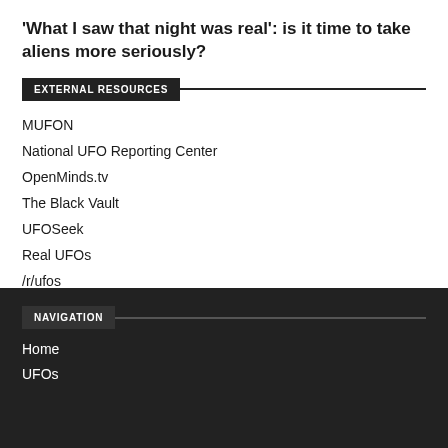'What I saw that night was real': is it time to take aliens more seriously?
EXTERNAL RESOURCES
MUFON
National UFO Reporting Center
OpenMinds.tv
The Black Vault
UFOSeek
Real UFOs
/r/ufos
NAVIGATION
Home
UFOs